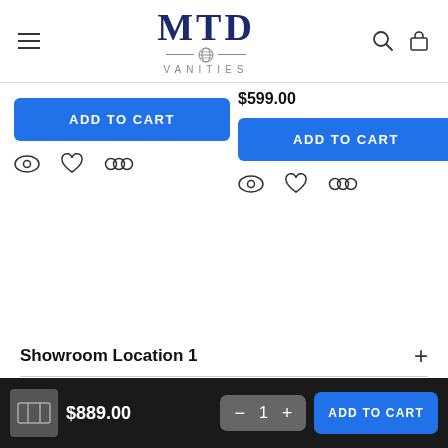[Figure (logo): MTD Vanities logo with globe icon]
$599.00
ADD TO CART
ADD TO CART
Showroom Location 1
$889.00
ADD TO CART